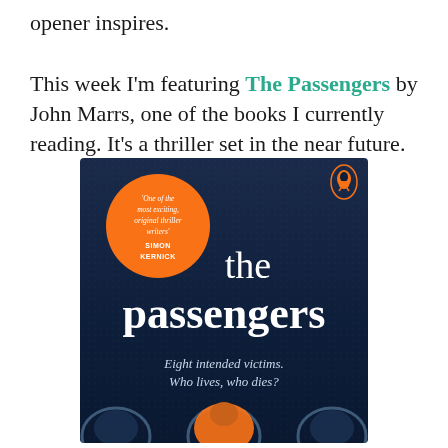opener inspires. This week I'm featuring The Passengers by John Marrs, one of the books I currently reading. It's a thriller set in the near future.
[Figure (photo): Book cover of 'The Passengers' by John Marrs. Dark blue background with large white serif text reading 'the passengers'. An orange circle badge on the upper left reads 'One of the most exciting, original thriller writers' - SIMON KERNICK'. Penguin logo in upper right. Tagline: 'Eight intended victims. Who lives, who dies?' At the bottom, figures in car seats are partially visible with an orange-jacketed figure in the center.]